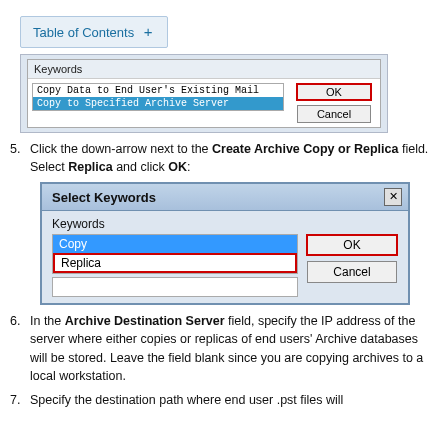Table of Contents +
[Figure (screenshot): Dialog box showing Keywords list with 'Copy Data to End User's Existing Mail' and 'Copy to Specified Archive Server' (selected, highlighted in blue), with OK and Cancel buttons]
5. Click the down-arrow next to the Create Archive Copy or Replica field. Select Replica and click OK:
[Figure (screenshot): Select Keywords dialog box with Keywords label, list showing 'Copy' (highlighted in blue) and 'Replica' (outlined in red border), OK button (outlined in red), and Cancel button]
6. In the Archive Destination Server field, specify the IP address of the server where either copies or replicas of end users' Archive databases will be stored. Leave the field blank since you are copying archives to a local workstation.
7. Specify the destination path where end user .pst files will